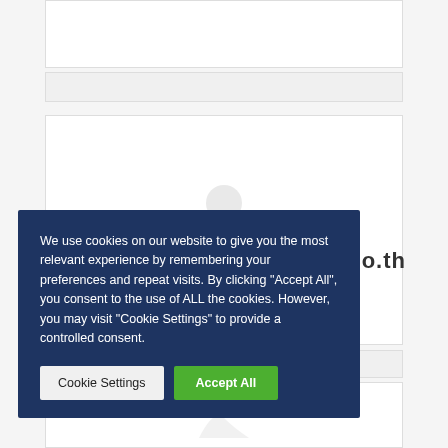[Figure (screenshot): Background web page content with placeholder image boxes and text '.co.th' visible, partially obscured by a cookie consent modal overlay.]
We use cookies on our website to give you the most relevant experience by remembering your preferences and repeat visits. By clicking "Accept All", you consent to the use of ALL the cookies. However, you may visit "Cookie Settings" to provide a controlled consent.
Cookie Settings
Accept All